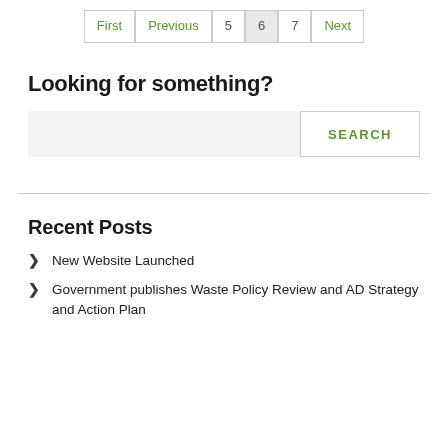First | Previous | 5 | 6 | 7 | Next
Looking for something?
SEARCH
Recent Posts
New Website Launched
Government publishes Waste Policy Review and AD Strategy and Action Plan